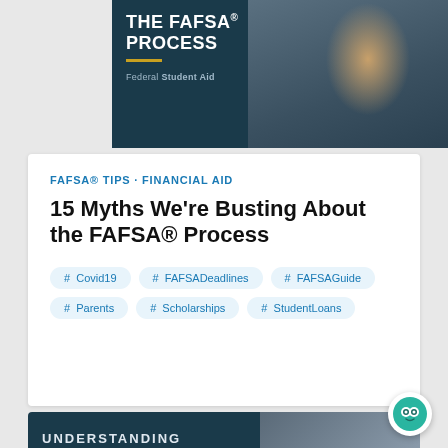[Figure (photo): Dark teal book/document cover card showing 'THE FAFSA® PROCESS' title with gold underline and Federal Student Aid logo, alongside a photo of a woman working on a laptop in a library]
FAFSA® TIPS · FINANCIAL AID
15 Myths We're Busting About the FAFSA® Process
# Covid19
# FAFSADeadlines
# FAFSAGuide
# Parents
# Scholarships
# StudentLoans
[Figure (photo): Partial dark teal card at bottom with 'UNDERSTANDING' text visible and a photo of students, with an owl mascot badge overlay]